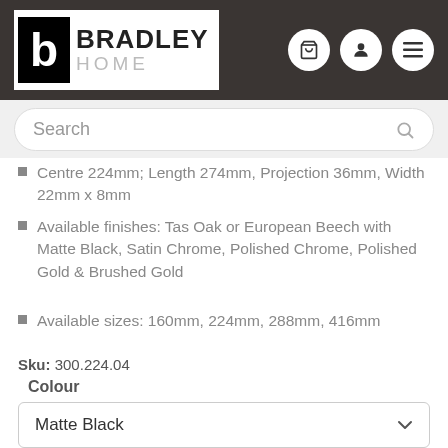[Figure (logo): Bradley Home logo — black square with stylized 'b' icon, text BRADLEY HOME in dark/grey]
[Figure (screenshot): Navigation icons: shopping cart, user profile, hamburger menu — white circles on dark bar]
Search
Centre 224mm; Length 274mm, Projection 36mm, Width 22mm x 8mm
Available finishes: Tas Oak or European Beech with Matte Black, Satin Chrome, Polished Chrome, Polished Gold & Brushed Gold
Available sizes: 160mm, 224mm, 288mm, 416mm
Sku: 300.224.04
Colour
Matte Black